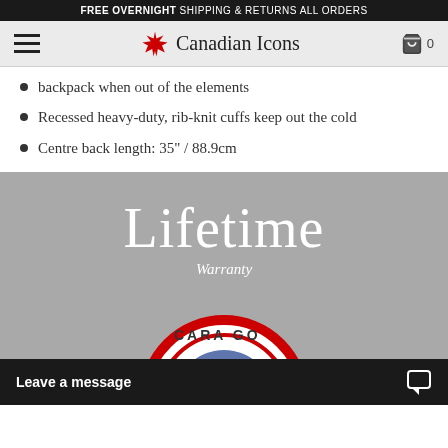FREE OVERNIGHT SHIPPING & RETURNS ALL ORDERS
Canadian Icons
backpack when out of the elements
Recessed heavy-duty, rib-knit cuffs keep out the cold
Centre back length: 35" / 88.9cm
Lifetime
Warranty
[Figure (logo): Partial circular badge/patch logo with red border, partially visible at bottom of grey section]
Leave a message